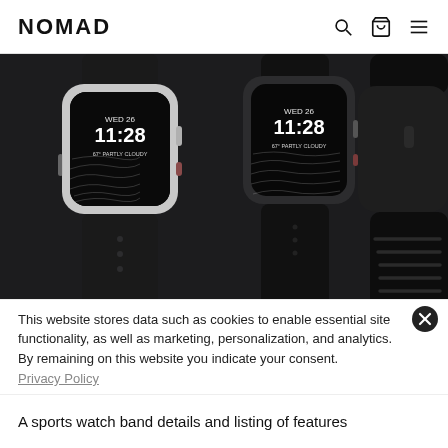NOMAD
[Figure (photo): Three Apple Watches with black sport bands displayed against a dark background. Two watches show face with 'WED 26 11:28 67° PARTLY CLOUDY' and topographic map watchface. One watch on the right shows just the black band profile.]
This website stores data such as cookies to enable essential site functionality, as well as marketing, personalization, and analytics. By remaining on this website you indicate your consent.
Privacy Policy
A sports watch band details and listing of features